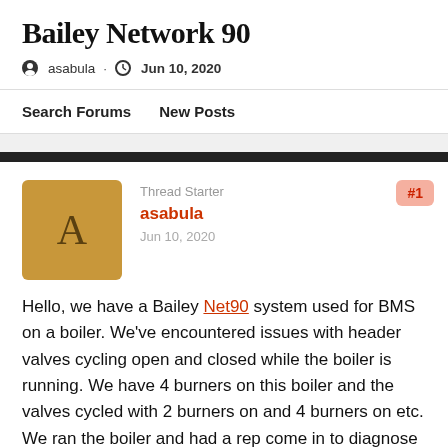Bailey Network 90
asabula · Jun 10, 2020
Search Forums   New Posts
Thread Starter
asabula
Jun 10, 2020
#1
Hello, we have a Bailey Net90 system used for BMS on a boiler. We've encountered issues with header valves cycling open and closed while the boiler is running. We have 4 burners on this boiler and the valves cycled with 2 burners on and 4 burners on etc. We ran the boiler and had a rep come in to diagnose